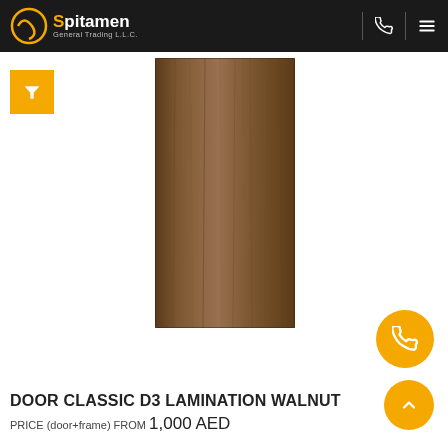Spitamen General Trading L.L.C.
[Figure (photo): A tall rectangular door panel with walnut wood lamination finish showing vertical grain pattern in medium brown tones]
DOOR CLASSIC D3 LAMINATION WALNUT
PRICE (door+frame) FROM 1,000 AED